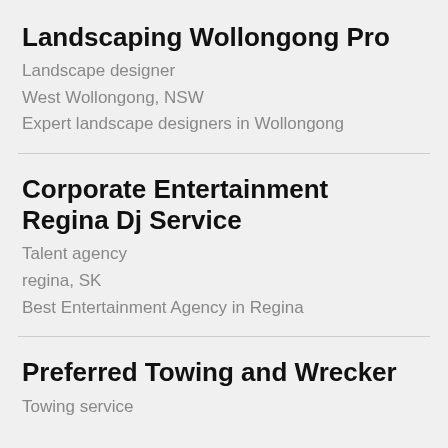Landscaping Wollongong Pro
Landscape designer
West Wollongong, NSW
Expert landscape designers in Wollongong
Corporate Entertainment Regina Dj Service
Talent agency
regina, SK
Best Entertainment Agency in Regina
Preferred Towing and Wrecker
Towing service